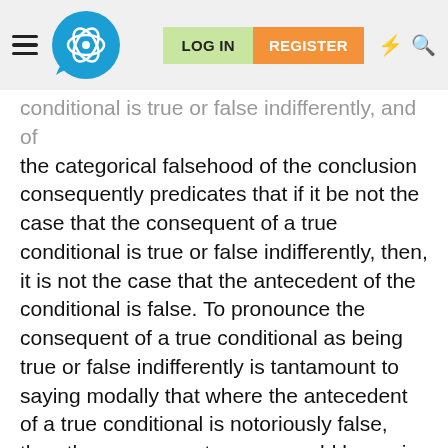LOG IN | REGISTER
conditional is true or false indifferently, and of the categorical falsehood of the conclusion consequently predicates that if it be not the case that the consequent of a true conditional is true or false indifferently, then, it is not the case that the antecedent of the conditional is false. To pronounce the consequent of a true conditional as being true or false indifferently is tantamount to saying modally that where the antecedent of a true conditional is notoriously false, then the consequent can, or could be, or is possibly true or false. But it may be worthwhile to see that the definitive, simultaneous equality of both true, and false, can be formulated without explicitly including modal terms, which become the predicating